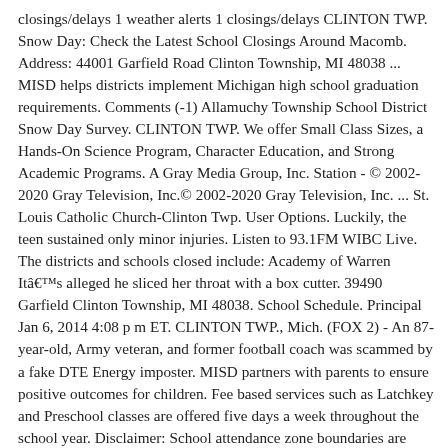closings/delays 1 weather alerts 1 closings/delays CLINTON TWP. Snow Day: Check the Latest School Closings Around Macomb. Address: 44001 Garfield Road Clinton Township, MI 48038 ... MISD helps districts implement Michigan high school graduation requirements. Comments (-1) Allamuchy Township School District Snow Day Survey. CLINTON TWP. We offer Small Class Sizes, a Hands-On Science Program, Character Education, and Strong Academic Programs. A Gray Media Group, Inc. Station - © 2002-2020 Gray Television, Inc.© 2002-2020 Gray Television, Inc. ... St. Louis Catholic Church-Clinton Twp. User Options. Luckily, the teen sustained only minor injuries. Listen to 93.1FM WIBC Live. The districts and schools closed include: Academy of Warren Itâs alleged he sliced her throat with a box cutter. 39490 Garfield Clinton Township, MI 48038. School Schedule. Principal Jan 6, 2014 4:08 p m ET. CLINTON TWP., Mich. (FOX 2) - An 87-year-old, Army veteran, and former football coach was scammed by a fake DTE Energy imposter. MISD partners with parents to ensure positive outcomes for children. Fee based services such as Latchkey and Preschool classes are offered five days a week throughout the school year. Disclaimer: School attendance zone boundaries are supplied by Pitney Bowes and are subject to...